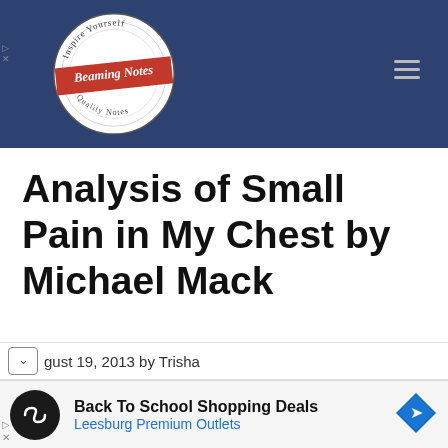[Figure (logo): Beaming Notes circular logo with banner reading 'Beaming Notes', text 'Inspire Yourself' at top, 'Quality Notes' at bottom, on a dark navy header background]
Analysis of Small Pain in My Chest by Michael Mack
August 19, 2013 by Trisha
[Figure (infographic): Advertisement: Back To School Shopping Deals – Leesburg Premium Outlets, with circular black icon with infinity-like symbol and blue diamond arrow icon on right]